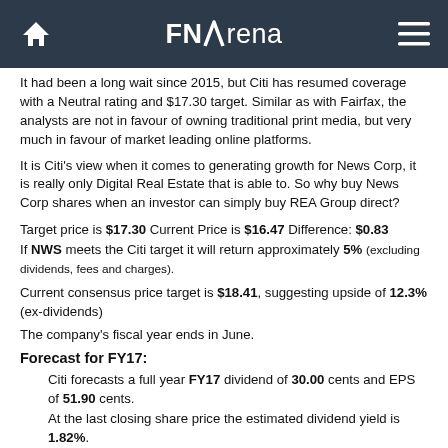FNArena
It had been a long wait since 2015, but Citi has resumed coverage with a Neutral rating and $17.30 target. Similar as with Fairfax, the analysts are not in favour of owning traditional print media, but very much in favour of market leading online platforms.
It is Citi's view when it comes to generating growth for News Corp, it is really only Digital Real Estate that is able to. So why buy News Corp shares when an investor can simply buy REA Group direct?
Target price is $17.30 Current Price is $16.47 Difference: $0.83
If NWS meets the Citi target it will return approximately 5% (excluding dividends, fees and charges).
Current consensus price target is $18.41, suggesting upside of 12.3% (ex-dividends)
The company's fiscal year ends in June.
Forecast for FY17:
Citi forecasts a full year FY17 dividend of 30.00 cents and EPS of 51.90 cents.
At the last closing share price the estimated dividend yield is 1.82%.
At the last closing share price the stock's estimated Price to Earnings Ratio (PER) is 31.73.